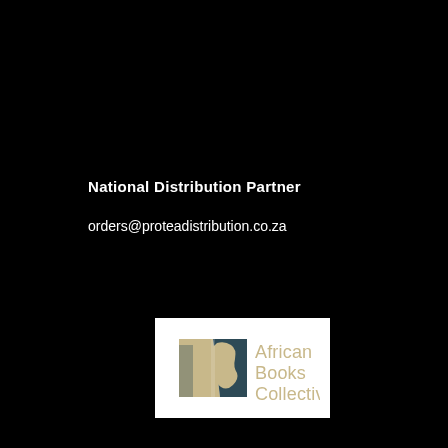National Distribution Partner
orders@proteadistribution.co.za
[Figure (logo): African Books Collective logo: stylized open book shape in dark teal and tan/gold colors with text 'African Books Collective' in gold/tan]